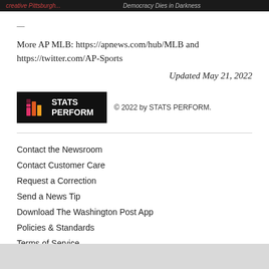Democracy Dies in Darkness
—
More AP MLB: https://apnews.com/hub/MLB and https://twitter.com/AP-Sports
Updated May 21, 2022
[Figure (logo): STATS PERFORM logo on black background with colorful slash icon]
© 2022 by STATS PERFORM.
Contact the Newsroom
Contact Customer Care
Request a Correction
Send a News Tip
Download The Washington Post App
Policies & Standards
Terms of Service